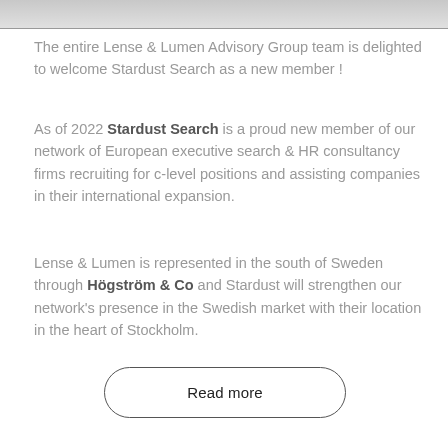[Figure (photo): Partial image strip at top of page showing a photo of a person]
The entire Lense & Lumen Advisory Group team is delighted to welcome Stardust Search as a new member !
As of 2022 Stardust Search is a proud new member of our network of European executive search & HR consultancy firms recruiting for c-level positions and assisting companies in their international expansion.
Lense & Lumen is represented in the south of Sweden through Högström & Co and Stardust will strengthen our network's presence in the Swedish market with their location in the heart of Stockholm.
Read more